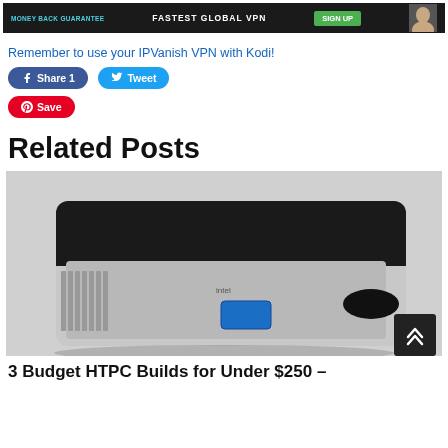[Figure (screenshot): IPVanish VPN advertisement banner: dark background with 'MONEY BACK GUARANTEE' in teal, 'FASTEST GLOBAL VPN' in white, green 'SIGN UP' button, and a person's face on the right]
Remember to use your IPVanish VPN with Kodi!
[Figure (infographic): Social sharing buttons: blue Facebook 'Share 1' button, teal Twitter 'Tweet' button, red Pinterest 'Save' button]
Related Posts
[Figure (photo): Photo of a small silver and black Intel NUC mini PC with USB port on front and ventilation grilles on the side]
3 Budget HTPC Builds for Under $250 –